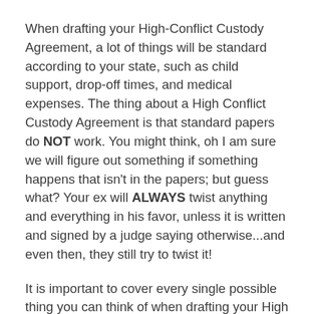When drafting your High-Conflict Custody Agreement, a lot of things will be standard according to your state, such as child support, drop-off times, and medical expenses. The thing about a High Conflict Custody Agreement is that standard papers do NOT work. You might think, oh I am sure we will figure out something if something happens that isn't in the papers; but guess what? Your ex will ALWAYS twist anything and everything in his favor, unless it is written and signed by a judge saying otherwise...and even then, they still try to twist it!
It is important to cover every single possible thing you can think of when drafting your High Conflict Custody Agreement. It might cost you a lot more now but in the long run it will save you a ton because you won't have to go back to mediation or court to decide for you. Not to mention the amount of mental stress it will save you, which is priceless.